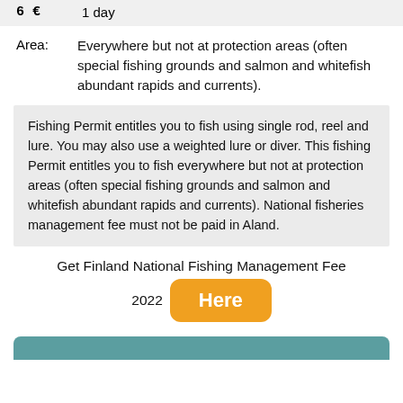| 6 € | 1 day |
Area:    Everywhere but not at protection areas (often special fishing grounds and salmon and whitefish abundant rapids and currents).
Fishing Permit entitles you to fish using single rod, reel and lure. You may also use a weighted lure or diver. This fishing Permit entitles you to fish everywhere but not at protection areas (often special fishing grounds and salmon and whitefish abundant rapids and currents). National fisheries management fee must not be paid in Aland.
Get Finland National Fishing Management Fee
2022  Here
[Figure (other): Teal/green decorative bar at bottom of page]